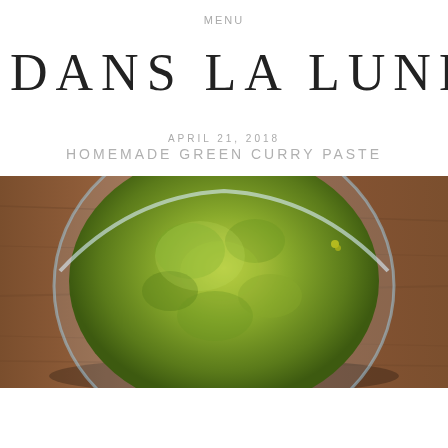MENU
DANS LA LUNE
APRIL 21, 2018
HOMEMADE GREEN CURRY PASTE
[Figure (photo): Top-down view of a glass bowl filled with green curry paste on a wooden surface]